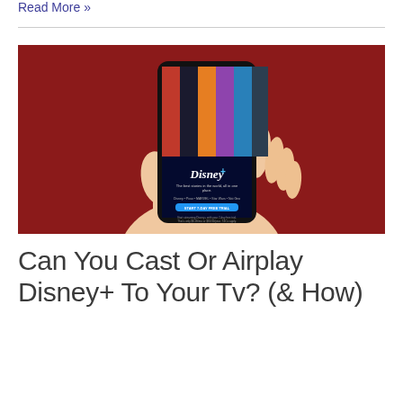Read More »
[Figure (photo): A hand holding a smartphone displaying the Disney+ app interface with Marvel, Pixar, and other characters on screen, against a red background.]
Can You Cast Or Airplay Disney+ To Your Tv? (& How)